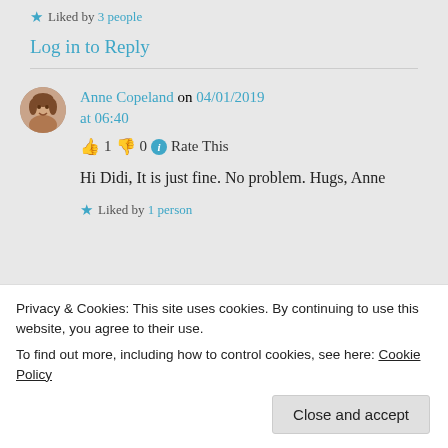★ Liked by 3 people
Log in to Reply
Anne Copeland on 04/01/2019 at 06:40
👍 1 👎 0 ℹ Rate This
Hi Didi, It is just fine. No problem. Hugs, Anne
★ Liked by 1 person
Privacy & Cookies: This site uses cookies. By continuing to use this website, you agree to their use.
To find out more, including how to control cookies, see here: Cookie Policy
Close and accept